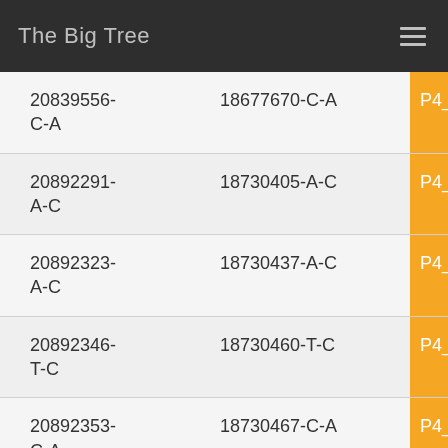The Big Tree
|  |  |  |
| --- | --- | --- |
| 20839556-C-A | 18677670-C-A | P4_Ga |
| 20892291-A-C | 18730405-A-C | P4_Ds |
| 20892323-A-C | 18730437-A-C | P4_Ds |
| 20892346-T-C | 18730460-T-C | P4_Ds |
| 20892353-C-A | 18730467-C-A | P4_Ds |
| 21073177-T-A | 18911291-T-A |  |
| 21115664-C-A | 18953778-C-A |  |